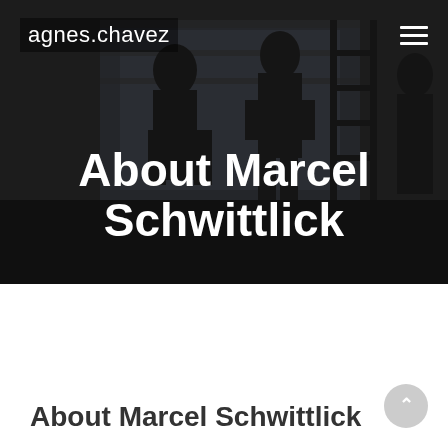[Figure (photo): Dark background photo showing silhouettes of people in a room with a ladder, in a darkened studio or workshop setting with light coming through a window]
agnes.chavez
About Marcel Schwittlick
About Marcel Schwittlick